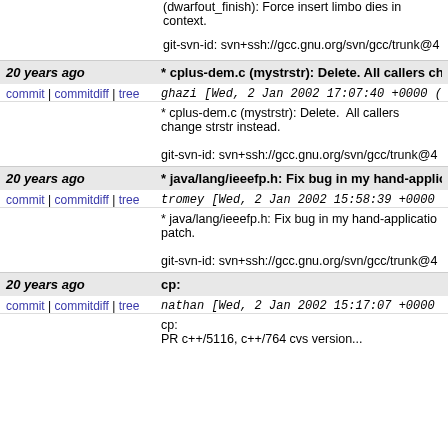(dwarfout_finish): Force insert limbo dies in context.
git-svn-id: svn+ssh://gcc.gnu.org/svn/gcc/trunk@4
20 years ago * cplus-dem.c (mystrstr): Delete. All callers cha
commit | commitdiff | tree
ghazi [Wed, 2 Jan 2002 17:07:40 +0000 (1
* cplus-dem.c (mystrstr): Delete. All callers change strstr instead.
git-svn-id: svn+ssh://gcc.gnu.org/svn/gcc/trunk@4
20 years ago * java/lang/ieeefp.h: Fix bug in my hand-applica
commit | commitdiff | tree
tromey [Wed, 2 Jan 2002 15:58:39 +0000 (
* java/lang/ieeefp.h: Fix bug in my hand-applicatio patch.
git-svn-id: svn+ssh://gcc.gnu.org/svn/gcc/trunk@4
20 years ago cp:
commit | commitdiff | tree
nathan [Wed, 2 Jan 2002 15:17:07 +0000 (
cp: PR c++/5116, c++/764 cvs version...